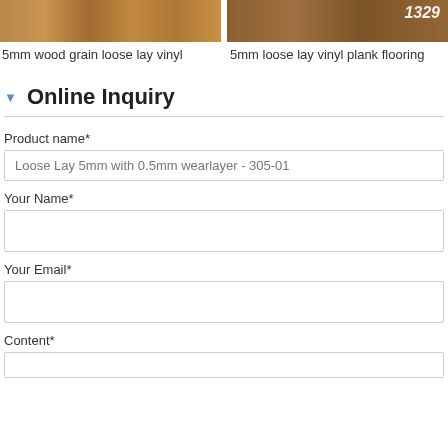[Figure (photo): Partial view of two product images: left shows wood grain loose lay vinyl flooring texture, right shows loose lay vinyl plank flooring with number 1529 visible]
5mm wood grain loose lay vinyl
5mm loose lay vinyl plank flooring
Online Inquiry
Product name*
Loose Lay 5mm with 0.5mm wearlayer - 305-01
Your Name*
Your Email*
Content*